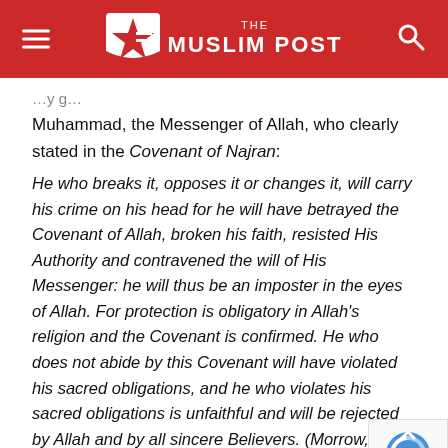THE MUSLIM POST
Muhammad, the Messenger of Allah, who clearly stated in the Covenant of Najran:
He who breaks it, opposes it or changes it, will carry his crime on his head for he will have betrayed the Covenant of Allah, broken his faith, resisted His Authority and contravened the will of His Messenger: he will thus be an imposter in the eyes of Allah. For protection is obligatory in Allah's religion and the Covenant is confirmed. He who does not abide by this Covenant will have violated his sacred obligations, and he who violates his sacred obligations is unfaithful and will be rejected by Allah and by all sincere Believers. (Morrow, John Andrew. The Covenants of the Prophet Muhammad with the Christians of the World. Tacoma, WA: Angelico Press and Sophia Perennis, 2013: